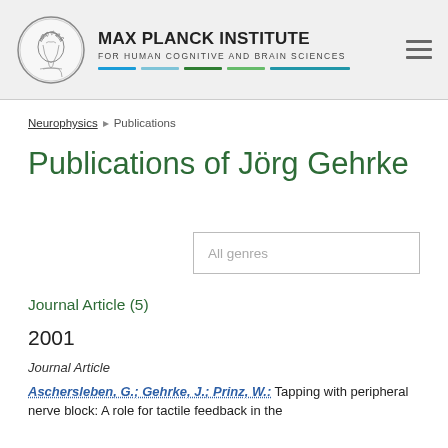[Figure (logo): Max Planck Institute logo with circular emblem showing Minerva figure and colored bar lines below institute name]
MAX PLANCK INSTITUTE FOR HUMAN COGNITIVE AND BRAIN SCIENCES
Neurophysics ▸ Publications
Publications of Jörg Gehrke
All genres
Journal Article (5)
2001
Journal Article
Aschersleben, G.; Gehrke, J.; Prinz, W.: Tapping with peripheral nerve block: A role for tactile feedback in the